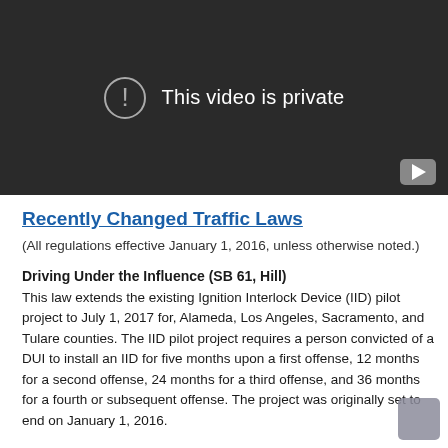[Figure (screenshot): YouTube video embed showing 'This video is private' message with exclamation icon on dark background]
Recently Changed Traffic Laws
(All regulations effective January 1, 2016, unless otherwise noted.)
Driving Under the Influence (SB 61, Hill)
This law extends the existing Ignition Interlock Device (IID) pilot project to July 1, 2017 for, Alameda, Los Angeles, Sacramento, and Tulare counties. The IID pilot project requires a person convicted of a DUI to install an IID for five months upon a first offense, 12 months for a second offense, 24 months for a third offense, and 36 months for a fourth or subsequent offense. The project was originally set to end on January 1, 2016.